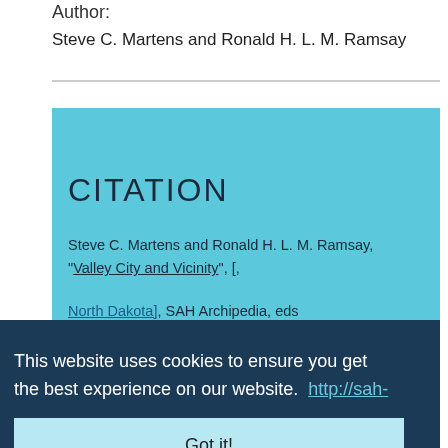Author:
Steve C. Martens and Ronald H. L. M. Ramsay
CITATION
Steve C. Martens and Ronald H. L. M. Ramsay, "Valley City and Vicinity", [, North Dakota], SAH Archipedia, eds. http://sah-archipedia.org/essays/ND-01-0001-0001-0005-0001.
This website uses cookies to ensure you get the best experience on our website.
Got it!